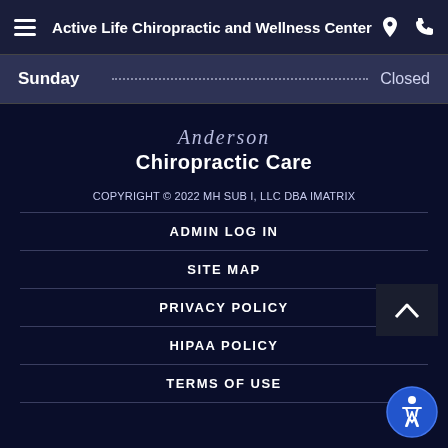Active Life Chiropractic and Wellness Center
Sunday   Closed
Anderson
Chiropractic Care
COPYRIGHT © 2022 MH SUB I, LLC DBA IMATRIX
ADMIN LOG IN
SITE MAP
PRIVACY POLICY
HIPAA POLICY
TERMS OF USE